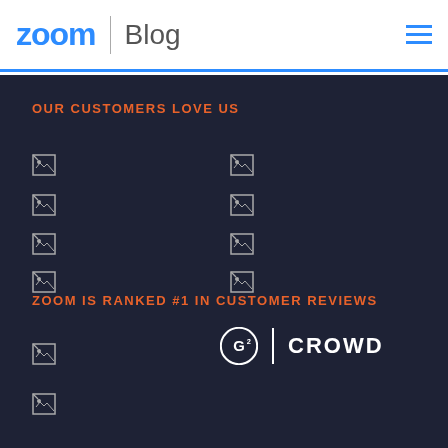zoom | Blog
OUR CUSTOMERS LOVE US
[Figure (other): Grid of 8 broken image placeholders representing customer logos, arranged in 2 columns of 4 rows]
ZOOM IS RANKED #1 IN CUSTOMER REVIEWS
[Figure (logo): G2 Crowd logo: circular G2 icon with vertical bar and CROWD text in white]
[Figure (other): Two broken image placeholders at bottom left]